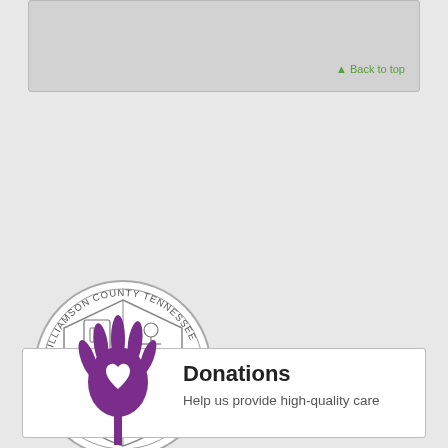▲ Back to top
[Figure (logo): Williamson County Tennessee seal/logo — circular gray shield emblem with text around the border reading WILLIAMSON COUNTY TENNESSEE and THE GREAT SEAL]
Home · Contact Us · Site Map · Accessibility · Copyright Notices · Powered by CivicPlus®
[Figure (illustration): Purple hand/tree icon with a heart cutout in the palm, representing donations]
Donations
Help us provide high-quality care